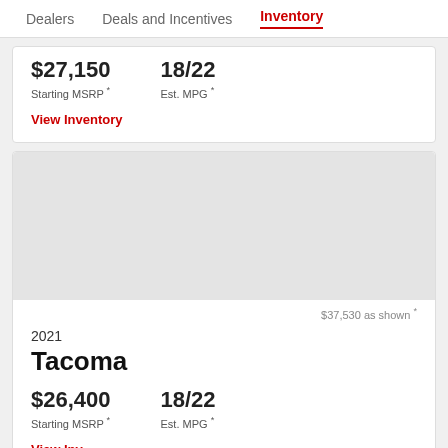Dealers   Deals and Incentives   Inventory
$27,150
Starting MSRP *
18/22
Est. MPG *
View Inventory
[Figure (photo): Vehicle image area (light gray placeholder)]
$37,530 as shown *
2021
Tacoma
$26,400
Starting MSRP *
18/22
Est. MPG *
View Inventory